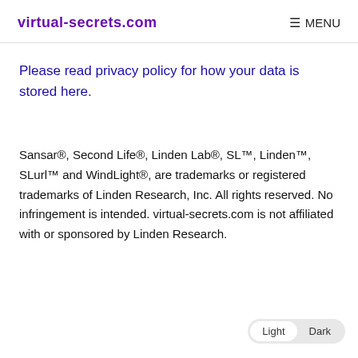virtual-secrets.com  MENU
Please read privacy policy for how your data is stored here.
Sansar®, Second Life®, Linden Lab®, SL™, Linden™, SLurl™ and WindLight®, are trademarks or registered trademarks of Linden Research, Inc. All rights reserved. No infringement is intended. virtual-secrets.com is not affiliated with or sponsored by Linden Research.
Light  Dark